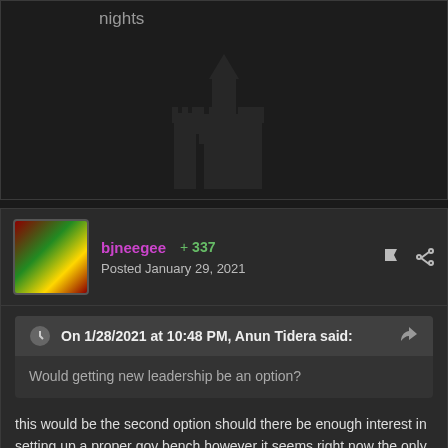nights
[Figure (illustration): Dark background with faint castle watermark silhouette]
bjneegee   +337
Posted January 29, 2021
On 1/28/2021 at 10:48 PM, Anun Tidera said:
Would getting new leadership be an option?
this would be the second option should there be enough interest in setting up a proper gov bench however it seems right now the only one willing to step up to the plate is notlaws, and we would need a new head of each department and a new king essentially.
Awards